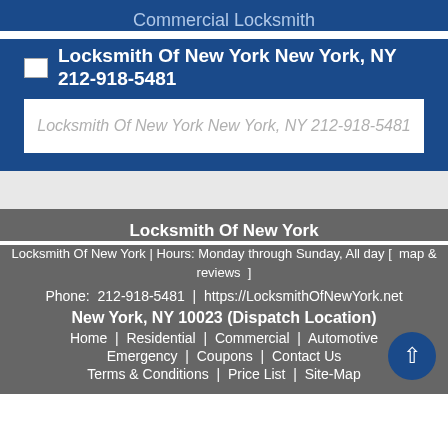Commercial Locksmith
Locksmith Of New York New York, NY 212-918-5481
Locksmith Of New York New York, NY 212-918-5481
Locksmith Of New York
Locksmith Of New York  | Hours: Monday through Sunday, All day [  map & reviews  ]
Phone:  212-918-5481  |  https://LocksmithOfNewYork.net
New York, NY 10023 (Dispatch Location)
Home  |  Residential  |  Commercial  |  Automotive
Emergency  |  Coupons  |  Contact Us
Terms & Conditions  |  Price List  |  Site-Map